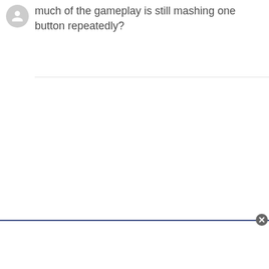[Figure (other): Circular grey avatar/user icon in the top-left corner]
much of the gameplay is still mashing one button repeatedly?
[Figure (other): Text input box at the bottom of the page with a dark blue top border and a close (X) button in the top-right corner of the box]